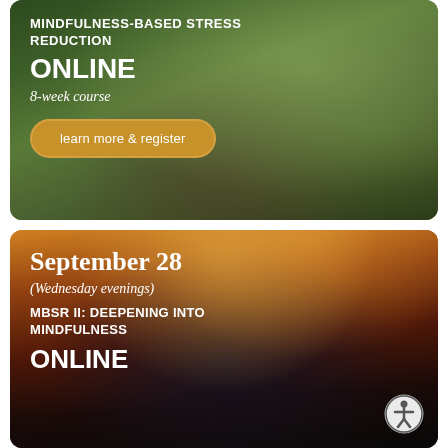[Figure (photo): Forest/nature background with mossy trees and green canopy for top card]
MINDFULNESS-BASED STRESS REDUCTION
ONLINE
8-week course
learn more & register
[Figure (photo): Sunset/dramatic sky landscape with dark silhouette for bottom card]
September 28
(Wednesday evenings)
MBSR II: DEEPENING INTO MINDFULNESS
ONLINE